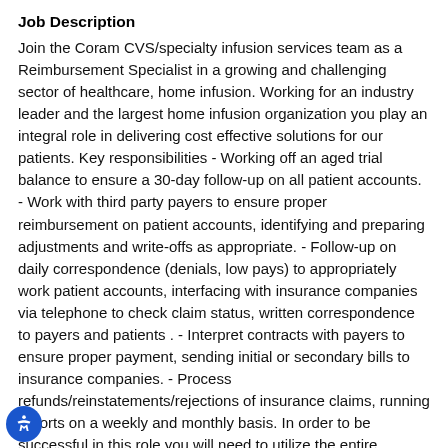Job Description
Join the Coram CVS/specialty infusion services team as a Reimbursement Specialist in a growing and challenging sector of healthcare, home infusion. Working for an industry leader and the largest home infusion organization you play an integral role in delivering cost effective solutions for our patients. Key responsibilities - Working off an aged trial balance to ensure a 30-day follow-up on all patient accounts. - Work with third party payers to ensure proper reimbursement on patient accounts, identifying and preparing adjustments and write-offs as appropriate. - Follow-up on daily correspondence (denials, low pays) to appropriately work patient accounts, interfacing with insurance companies via telephone to check claim status, written correspondence to payers and patients . - Interpret contracts with payers to ensure proper payment, sending initial or secondary bills to insurance companies. - Process refunds/reinstatements/rejections of insurance claims, running reports on a weekly and monthly basis. In order to be successful in this role you will need to utilize the entire Microsoft Office Suite, specifically Excel,